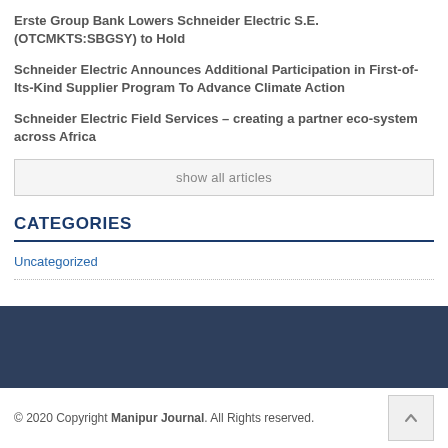Erste Group Bank Lowers Schneider Electric S.E. (OTCMKTS:SBGSY) to Hold
Schneider Electric Announces Additional Participation in First-of-Its-Kind Supplier Program To Advance Climate Action
Schneider Electric Field Services – creating a partner eco-system across Africa
show all articles
CATEGORIES
Uncategorized
© 2020 Copyright Manipur Journal. All Rights reserved.